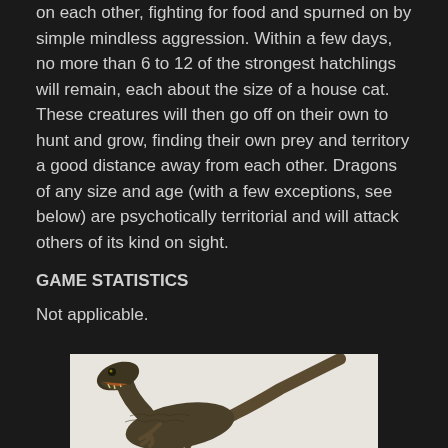on each other, fighting for food and spurned on by simple mindless aggression. Within a few days, no more than 6 to 12 of the strongest hatchlings will remain, each about the size of a house cat. These creatures will then go off on their own to hunt and grow, finding their own prey and territory a good distance away from each other. Dragons of any size and age (with a few exceptions, see below) are psychotically territorial and will attack others of its kind on sight.
GAME STATISTICS
Not applicable.
[Figure (photo): Photo of a dinosaur figurine (raptor-like creature) on a light grey/beige background, showing the head and upper body with open mouth and long tail extending to the right]